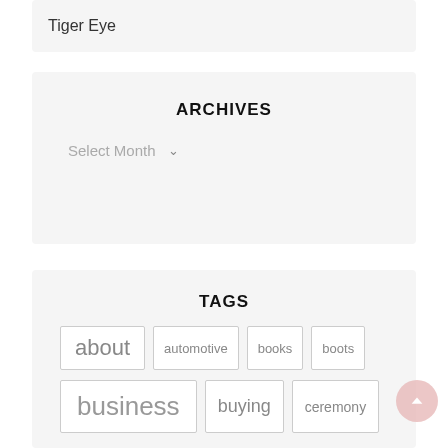Tiger Eye
ARCHIVES
Select Month
TAGS
about
automotive
books
boots
business
buying
ceremony